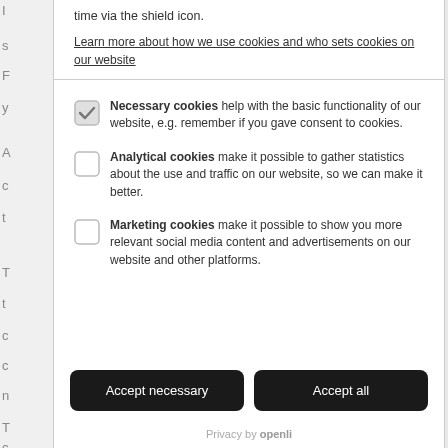time via the shield icon.
Learn more about how we use cookies and who sets cookies on our website
Necessary cookies help with the basic functionality of our website, e.g. remember if you gave consent to cookies.
Analytical cookies make it possible to gather statistics about the use and traffic on our website, so we can make it better.
Marketing cookies make it possible to show you more relevant social media content and advertisements on our website and other platforms.
Accept necessary
Accept all
Privacy by openli